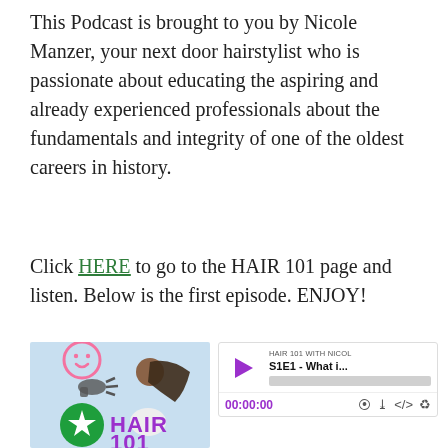This Podcast is brought to you by Nicole Manzer, your next door hairstylist who is passionate about educating the aspiring and already experienced professionals about the fundamentals and integrity of one of the oldest careers in history.
Click HERE to go to the HAIR 101 page and listen. Below is the first episode. ENJOY!
[Figure (screenshot): Podcast player widget showing Hair 101 podcast cover image on the left (pink smiley face, hair dryer, person with flowing hair, green star circle, purple HAIR 101 text on light blue background) and an audio player on the right with play button, episode title 'S1E1 - What i...', progress bar, timestamp 00:00:00, and player control icons.]